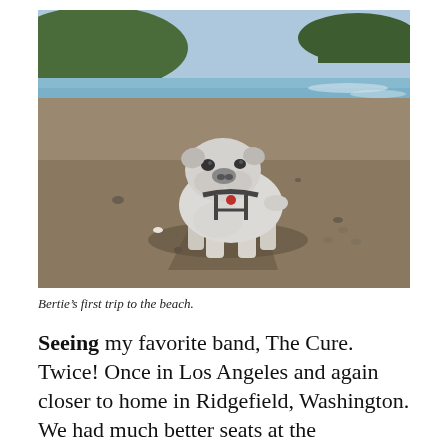[Figure (photo): A white/grey English Bulldog wearing a harness stands on a sandy beach. There is a large shadow cast beneath the dog. The beach has dark sand, gentle waves in the background, and green hills/cliffs visible in the far background under a clear blue sky.]
Bertie's first trip to the beach.
Seeing my favorite band, The Cure. Twice! Once in Los Angeles and again closer to home in Ridgefield, Washington. We had much better seats at the Ridgefield show and had a fantastic time.